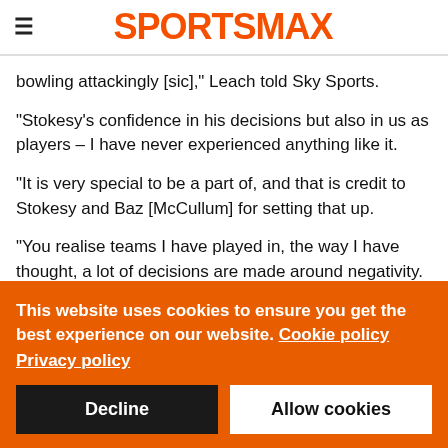SPORTSMAX
bowling attackingly [sic]," Leach told Sky Sports.
"Stokesy's confidence in his decisions but also in us as players – I have never experienced anything like it.
"It is very special to be a part of, and that is credit to Stokesy and Baz [McCullum] for setting that up.
"You realise teams I have played in, the way I have thought, a lot of decisions are made around negativity.
This website uses cookies to ensure you get the best experience on our website. Cookie policy
Privacy policy
Decline
Allow cookies